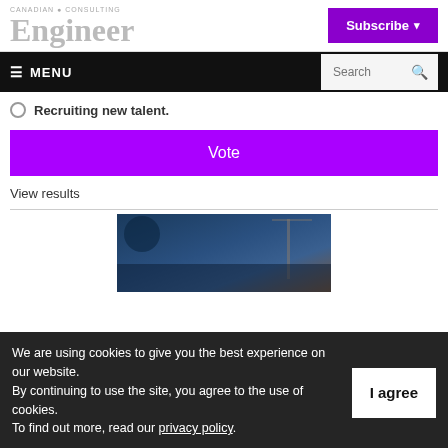Canadian Consulting Engineer
Subscribe
≡ MENU  Search
Recruiting new talent.
Vote
View results
[Figure (photo): Manufacturing dark industrial image with bold white text 'MANUFACTURING']
We are using cookies to give you the best experience on our website. By continuing to use the site, you agree to the use of cookies. To find out more, read our privacy policy.